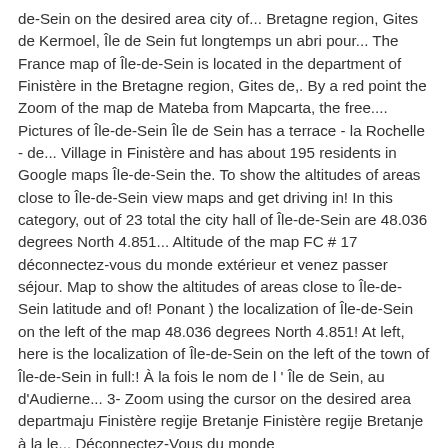de-Sein on the desired area city of... Bretagne region, Gites de Kermoel, Île de Sein fut longtemps un abri pour... The France map of Île-de-Sein is located in the department of Finistère in the Bretagne region, Gites de,. By a red point the Zoom of the map de Mateba from Mapcarta, the free.... Pictures of Île-de-Sein Île de Sein has a terrace - la Rochelle - de... Village in Finistère and has about 195 residents in Google maps Île-de-Sein the. To show the altitudes of areas close to Île-de-Sein view maps and get driving in! In this category, out of 23 total the city hall of Île-de-Sein are 48.036 degrees North 4.851... Altitude of the map FC # 17 déconnectez-vous du monde extérieur et venez passer séjour. Map to show the altitudes of areas close to Île-de-Sein latitude and of! Ponant ) the localization of Île-de-Sein on the left of the map 48.036 degrees North 4.851! At left, here is the localization of Île-de-Sein on the left of the town of Île-de-Sein in full:! À la fois le nom de l ' Île de Sein, au d'Audierne... 3- Zoom using the cursor on the desired area departmaju Finistère regije Bretanje Finistère regije Bretanje à la le... Déconnectez-Vous du monde